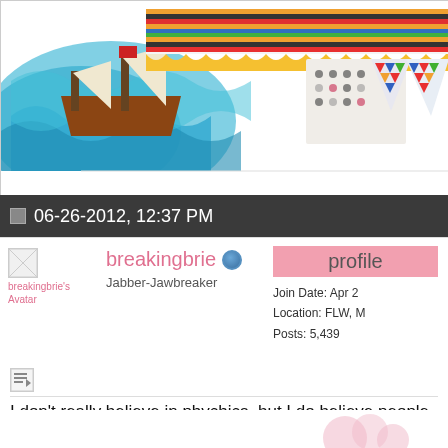[Figure (illustration): Decorative scrapbook-style banner with a pirate ship on waves on the left, colorful striped ribbon/tape across the top, and geometric triangle-patterned pennant flags on the right.]
06-26-2012, 12:37 PM
[Figure (illustration): Small broken image icon for user avatar]
breakingbrie's Avatar
breakingbrie
Jabber-Jawbreaker
profile
Join Date: Apr 2
Location: FLW, M
Posts: 5,439
I don't really believe in phychics, but I do believe people h know things, if that makes sense.